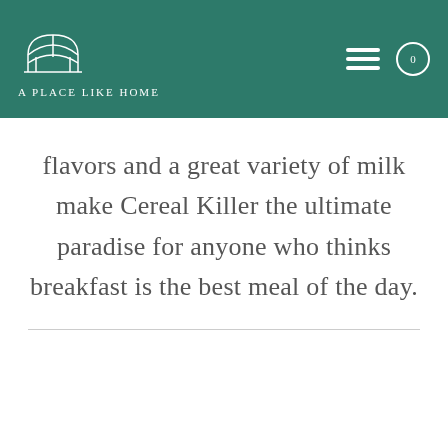A PLACE LIKE HOME
flavors and a great variety of milk make Cereal Killer the ultimate paradise for anyone who thinks breakfast is the best meal of the day.